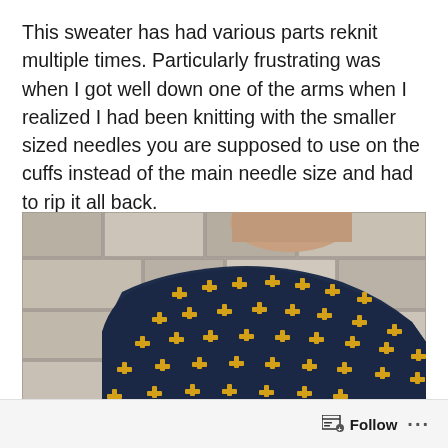This sweater has had various parts reknit multiple times. Particularly frustrating was when I got well down one of the arms when I realized I had been knitting with the smaller sized needles you are supposed to use on the cuffs instead of the main needle size and had to rip it all back.
[Figure (photo): A person wearing a dark navy blue knitted sweater with a yellow/gold fleur-de-lis or cross pattern, standing against a stone wall background. The photo shows the back/side of the sweater.]
Follow ···